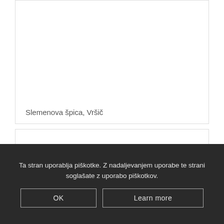[Figure (photo): Photo placeholder card for Slemenova špica, Vršič — appears mostly white/empty in this cropped view]
Slemenova špica, Vršič
[Figure (photo): Second photo card, partially visible, content not visible in this crop]
Ta stran uporablja piškotke. Z nadaljevanjem uporabe te strani soglašate z uporabo piškotkov.
OK
Learn more